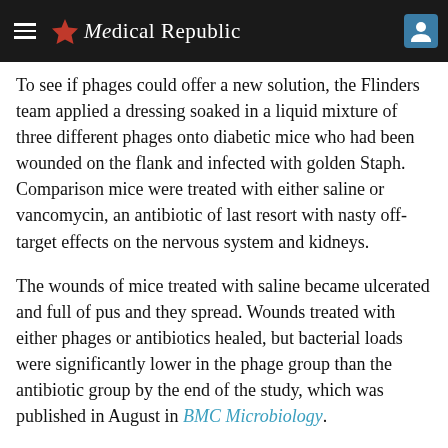The Medical Republic
To see if phages could offer a new solution, the Flinders team applied a dressing soaked in a liquid mixture of three different phages onto diabetic mice who had been wounded on the flank and infected with golden Staph. Comparison mice were treated with either saline or vancomycin, an antibiotic of last resort with nasty off-target effects on the nervous system and kidneys.
The wounds of mice treated with saline became ulcerated and full of pus and they spread. Wounds treated with either phages or antibiotics healed, but bacterial loads were significantly lower in the phage group than the antibiotic group by the end of the study, which was published in August in BMC Microbiology.
These findings are “highly likely” to be replicable in humans,